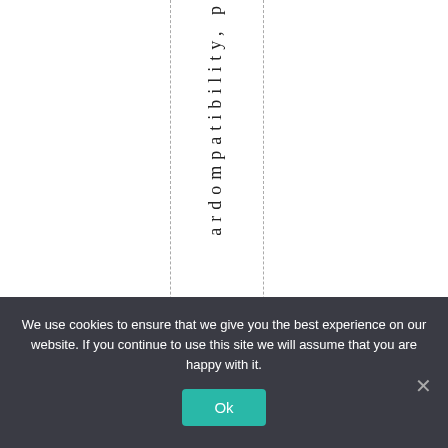ardompatibility, p
We use cookies to ensure that we give you the best experience on our website. If you continue to use this site we will assume that you are happy with it.
Ok